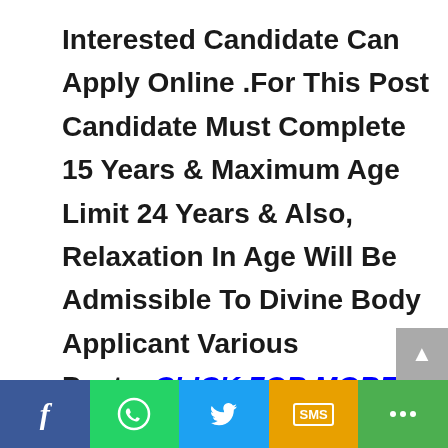Interested Candidate Can Apply Online .For This Post Candidate Must Complete 15 Years & Maximum Age Limit 24 Years & Also, Relaxation In Age Will Be Admissible To Divine Body Applicant Various Posts. CLICK FOR MORE INFORMATION